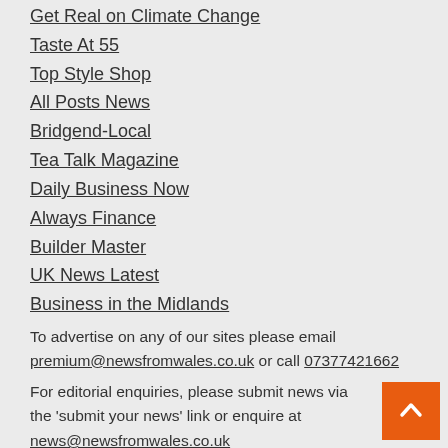Get Real on Climate Change
Taste At 55
Top Style Shop
All Posts News
Bridgend-Local
Tea Talk Magazine
Daily Business Now
Always Finance
Builder Master
UK News Latest
Business in the Midlands
To advertise on any of our sites please email premium@newsfromwales.co.uk or call 07377421662
For editorial enquiries, please submit news via the 'submit your news' link or enquire at news@newsfromwales.co.uk